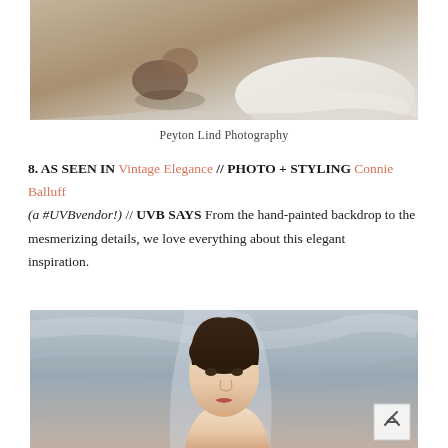[Figure (photo): Aerial/overhead view of a couple, the bride's wedding dress train spread out on a concrete floor, shot from above]
Peyton Lind Photography
8. AS SEEN IN Vintage Elegance // PHOTO + STYLING Connie Balluff (a #UVBvendor!) // UVB SAYS From the hand-painted backdrop to the mesmerizing details, we love everything about this elegant inspiration.
[Figure (photo): Portrait of a dark-haired bride wearing a sheer veil, photographed against a hand-painted grey backdrop]